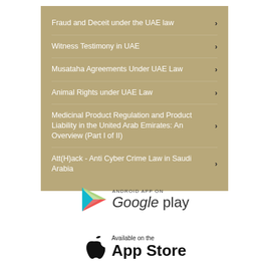Fraud and Deceit under the UAE law
Witness Testimony in UAE
Musataha Agreements Under UAE Law
Animal Rights under UAE Law
Medicinal Product Regulation and Product Liability in the United Arab Emirates: An Overview (Part I of II)
Att(H)ack - Anti Cyber Crime Law in Saudi Arabia
[Figure (logo): Google Play store badge with triangular play icon and text 'ANDROID APP ON Google play']
[Figure (logo): Apple App Store badge with Apple logo and text 'Available on the App Store']